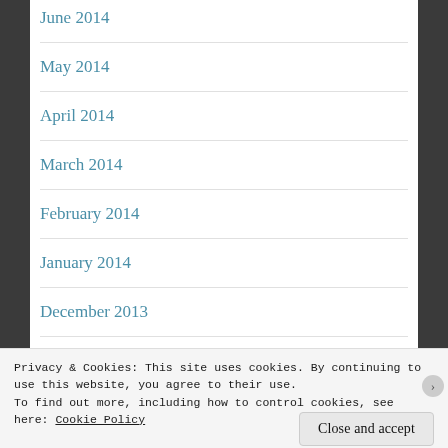June 2014
May 2014
April 2014
March 2014
February 2014
January 2014
December 2013
November 2013
Privacy & Cookies: This site uses cookies. By continuing to use this website, you agree to their use. To find out more, including how to control cookies, see here: Cookie Policy
Close and accept